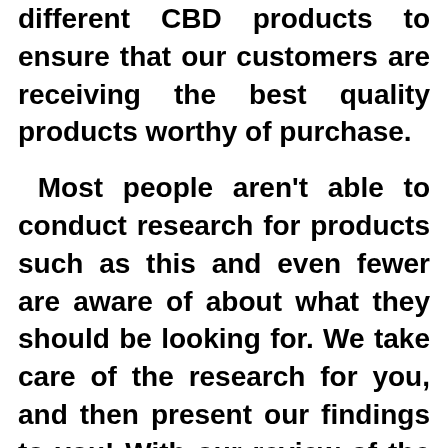different CBD products to ensure that our customers are receiving the best quality products worthy of purchase.
Most people aren't able to conduct research for products such as this and even fewer are aware of about what they should be looking for. We take care of the research for you, and then present our findings to you! With our review of the Green Dolphin CBD Gummies review, we'll show you the basics of what CBD is what it is, where it originates from and how it will help you improve your overall health. You'll earn around the cost as well as the ingredients and other information! Let's